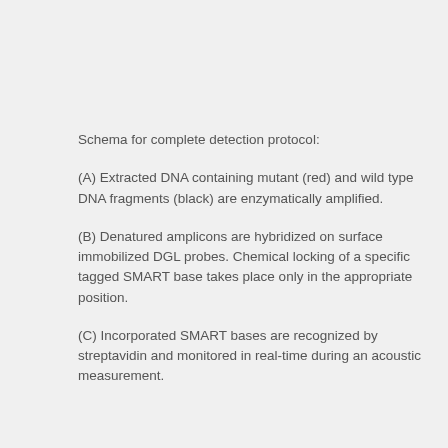Schema for complete detection protocol:
(A) Extracted DNA containing mutant (red) and wild type DNA fragments (black) are enzymatically amplified.
(B) Denatured amplicons are hybridized on surface immobilized DGL probes. Chemical locking of a specific tagged SMART base takes place only in the appropriate position.
(C) Incorporated SMART bases are recognized by streptavidin and monitored in real-time during an acoustic measurement.